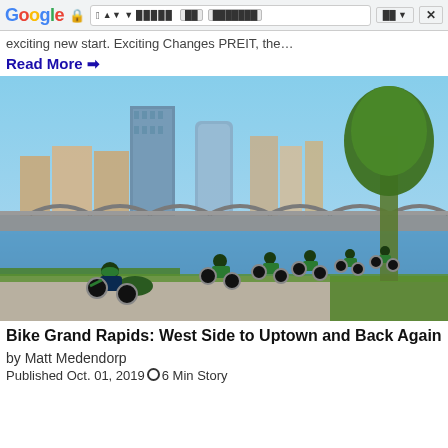Google browser toolbar
exciting new start. Exciting Changes PREIT, the…
Read More →
[Figure (photo): Cyclists in green and black cycling gear riding along a riverside path with a bridge and city skyline (Grand Rapids) in the background, under clear blue sky with trees on the right.]
Bike Grand Rapids: West Side to Uptown and Back Again
by Matt Medendorp
Published Oct. 01, 2019  6 Min Story